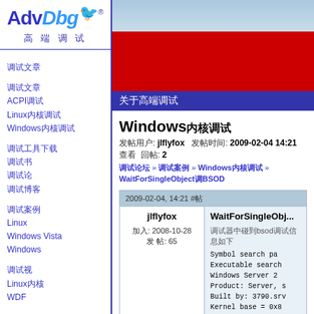[Figure (logo): AdvDbg logo with hummingbird icon and Chinese subtitle 高端调试]
调试文章
ACPI调试
Linux内核调试
Windows内核调试
调试工具下载
调试书
调试论
调试博客
调试案例
Linux
Windows Vista
Windows
调试视
Linux内核
WDF
[Figure (photo): Sky and red banner image in top right area]
关于高端调试
Windows内核调试
发帖用户: jlflyfox   发帖时间: 2009-02-04 14:21 查看  回帖: 2
调试论坛 » 调试案例 » Windows内核调试 » WaitForSingleObject调BSOD
2009-02-04, 14:21 #帖
| 用户 | 内容 |
| --- | --- |
| jlflyfox
加入: 2008-10-28
发 帖: 65 | WaitForSingleObj...

调试器中碰到bsod调试信息如下

Symbol search pa
Executable search
Windows Server 2
Product: Server, s
Built by: 3790.srv
Kernel base = 0x8 |